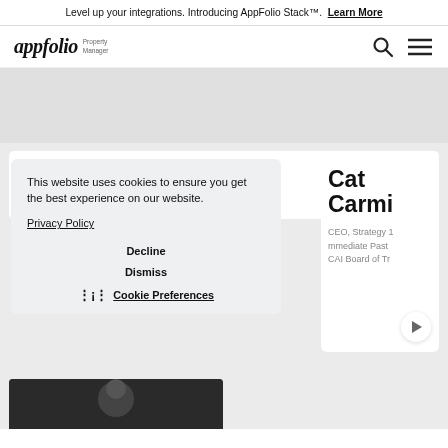Level up your integrations. Introducing AppFolio Stack™. Learn More
[Figure (logo): AppFolio Property Manager logo with search and hamburger menu icons]
[Figure (screenshot): Gray hero area placeholder]
This website uses cookies to ensure you get the best experience on our website.
Privacy Policy
Decline
Dismiss
Cookie Preferences
Cat Carmi
CEO, Strategy 1
immediate Past
CAI Board of Tr
[Figure (photo): Partially visible person photo at bottom of page]